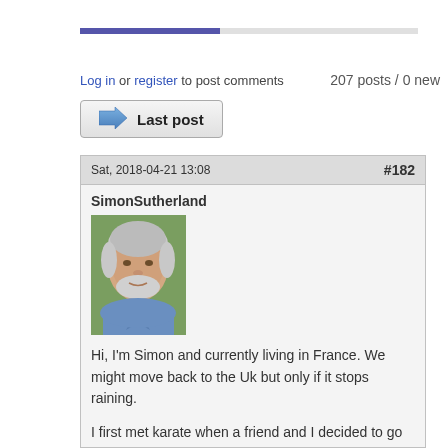Log in or register to post comments   207 posts / 0 new
Last post
Sat, 2018-04-21 13:08   #182
SimonSutherland
[Figure (photo): Profile photo of an older white-haired man with a beard, outdoors with green foliage in background]
Hi, I'm Simon and currently living in France. We might move back to the Uk but only if it stops raining.

I first met karate when a friend and I decided to go in for the Duke of Edinburgh's award scheme (you'll have to look this one up), way back when neither of us or our parents knew what to do with us. All I remember now is that I had to find several "subject"s off an official list and do some work to get